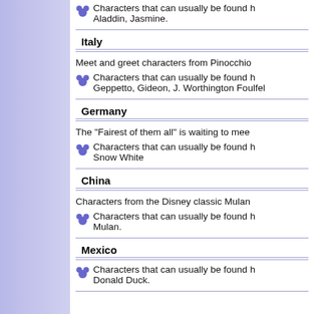Characters that can usually be found here: Aladdin, Jasmine.
Italy
Meet and greet characters from Pinocchio
Characters that can usually be found here: Geppetto, Gideon, J. Worthington Foulfel
Germany
The "Fairest of them all" is waiting to mee
Characters that can usually be found here: Snow White
China
Characters from the Disney classic Mulan
Characters that can usually be found here: Mulan.
Mexico
Characters that can usually be found here: Donald Duck.